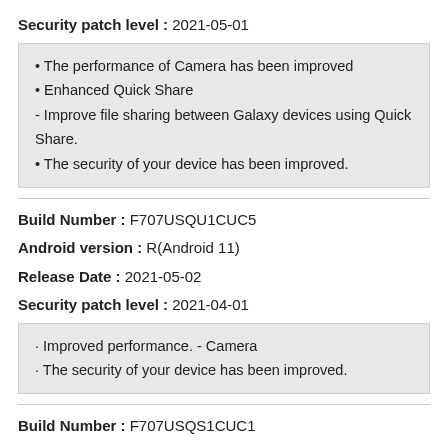Security patch level : 2021-05-01
• The performance of Camera has been improved
• Enhanced Quick Share
- Improve file sharing between Galaxy devices using Quick Share.
• The security of your device has been improved.
Build Number : F707USQU1CUC5
Android version : R(Android 11)
Release Date : 2021-05-02
Security patch level : 2021-04-01
· Improved performance. - Camera
· The security of your device has been improved.
Build Number : F707USQS1CUC1
Android version : R(Android 11)
Release Date : 2021-03-26